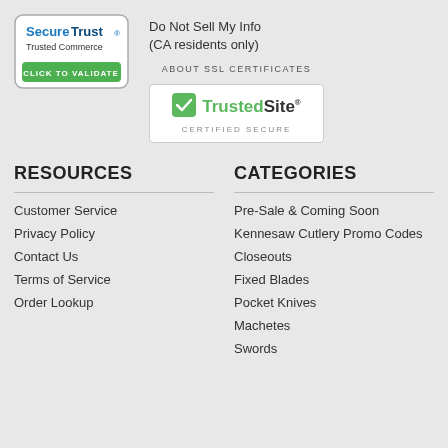[Figure (logo): SecureTrust Trusted Commerce CLICK TO VALIDATE badge — rounded rectangle with blue and green logo]
Do Not Sell My Info
(CA residents only)
ABOUT SSL CERTIFICATES
[Figure (logo): TrustedSite CERTIFIED SECURE badge — white rectangle with green checkmark and TrustedSite text]
RESOURCES
CATEGORIES
Customer Service
Privacy Policy
Contact Us
Terms of Service
Order Lookup
Pre-Sale & Coming Soon
Kennesaw Cutlery Promo Codes
Closeouts
Fixed Blades
Pocket Knives
Machetes
Swords